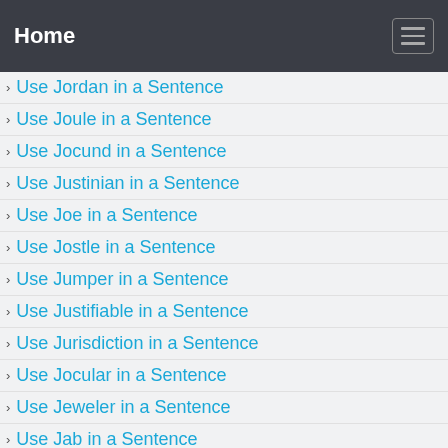Home
Use Jordan in a Sentence
Use Joule in a Sentence
Use Jocund in a Sentence
Use Justinian in a Sentence
Use Joe in a Sentence
Use Jostle in a Sentence
Use Jumper in a Sentence
Use Justifiable in a Sentence
Use Jurisdiction in a Sentence
Use Jocular in a Sentence
Use Jeweler in a Sentence
Use Jab in a Sentence